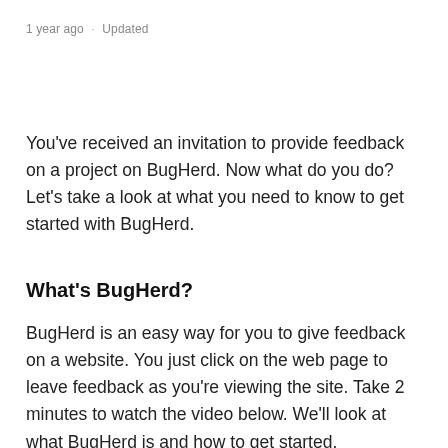1 year ago · Updated
You've received an invitation to provide feedback on a project on BugHerd. Now what do you do? Let's take a look at what you need to know to get started with BugHerd.
What's BugHerd?
BugHerd is an easy way for you to give feedback on a website. You just click on the web page to leave feedback as you're viewing the site. Take 2 minutes to watch the video below. We'll look at what BugHerd is and how to get started.